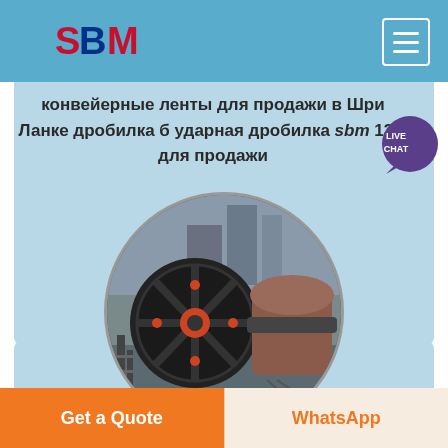SBM
конвейерные ленты для продажи в Шри Ланке дробилка б ударная дробилка sbm 13 4 для продажи
[Figure (photo): Industrial jaw crusher machine photographed in a circular crop, showing large black flywheel and crusher components]
Get a Quote
WhatsApp